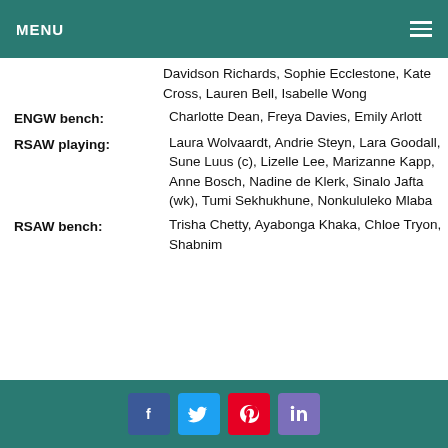MENU
Davidson Richards, Sophie Ecclestone, Kate Cross, Lauren Bell, Isabelle Wong
ENGW bench: Charlotte Dean, Freya Davies, Emily Arlott
RSAW playing: Laura Wolvaardt, Andrie Steyn, Lara Goodall, Sune Luus (c), Lizelle Lee, Marizanne Kapp, Anne Bosch, Nadine de Klerk, Sinalo Jafta (wk), Tumi Sekhukhune, Nonkululeko Mlaba
RSAW bench: Trisha Chetty, Ayabonga Khaka, Chloe Tryon, Shabnim
Social share buttons: Facebook, Twitter, Pinterest, LinkedIn